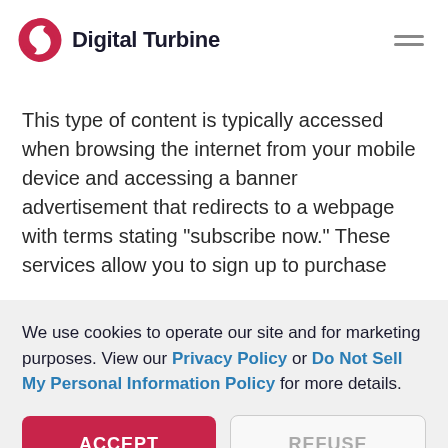Digital Turbine
This type of content is typically accessed when browsing the internet from your mobile device and accessing a banner advertisement that redirects to a webpage with terms stating “subscribe now.” These services allow you to sign up to purchase
We use cookies to operate our site and for marketing purposes. View our Privacy Policy or Do Not Sell My Personal Information Policy for more details.
ACCEPT | REFUSE